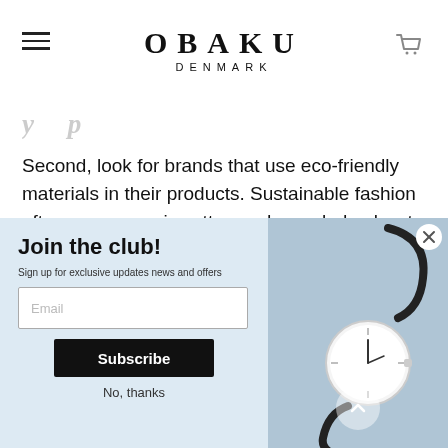OBAKU DENMARK
Second, look for brands that use eco-friendly materials in their products. Sustainable fashion often uses organic cotton and recycled polyester instead of traditional synthetic materials.
You may want to avoid buying products made from silk, wool, fur, or leather because these are often produced using harmful
[Figure (screenshot): Popup newsletter signup with 'Join the club!' heading, email input, Subscribe button, No thanks link, and watch image on right side on blue background.]